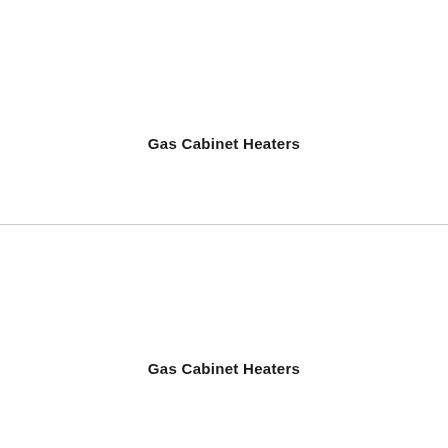Gas Cabinet Heaters
Gas Cabinet Heaters